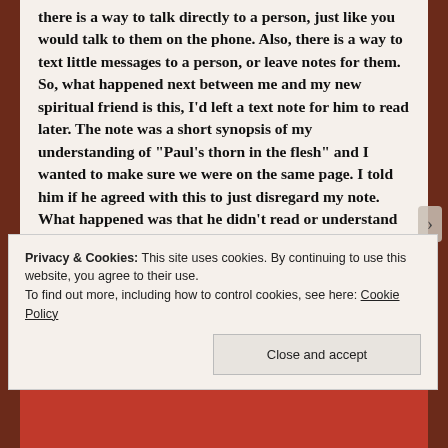there is a way to talk directly to a person, just like you would talk to them on the phone. Also, there is a way to text little messages to a person, or leave notes for them. So, what happened next between me and my new spiritual friend is this, I'd left a text note for him to read later. The note was a short synopsis of my understanding of "Paul's thorn in the flesh" and I wanted to make sure we were on the same page. I told him if he agreed with this to just disregard my note. What happened was that he didn't read or understand what I'd said in my text note, and became...
Privacy & Cookies: This site uses cookies. By continuing to use this website, you agree to their use.
To find out more, including how to control cookies, see here: Cookie Policy
Close and accept